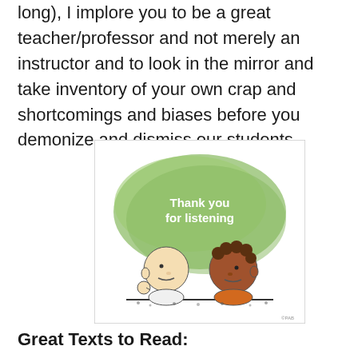long), I implore you to be a great teacher/professor and not merely an instructor and to look in the mirror and take inventory of your own crap and shortcomings and biases before you demonize and dismiss our students.
[Figure (illustration): Peanuts cartoon showing Charlie Brown and Franklin sitting across from each other with a green watercolor background and white bold text reading 'Thank you for listening']
Great Texts to Read: